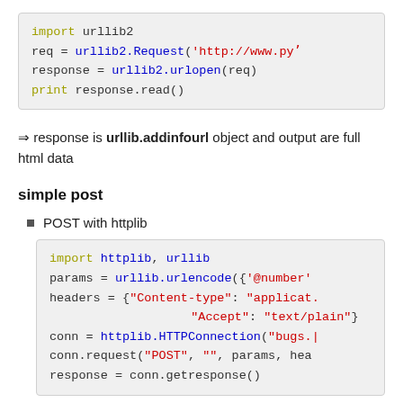[Figure (screenshot): Code block showing Python urllib2 GET request: import urllib2, req = urllib2.Request('http://www.py...'), response = urllib2.urlopen(req), print response.read()]
⇒ response is urllib.addinfourl object and output are full html data
simple post
POST with httplib
[Figure (screenshot): Code block showing Python httplib POST request: import httplib, urllib; params = urllib.urlencode({'@number'...}); headers = {"Content-type": "applicat...", "Accept": "text/plain"}; conn = httplib.HTTPConnection("bugs...."); conn.request("POST", "", params, head...); response = conn.getresponse()]